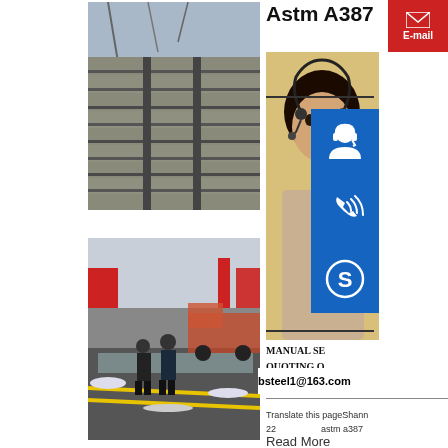Astm A387
[Figure (photo): Stack of steel plates/beams stored outdoors at a steel yard]
[Figure (photo): Workers handling a large steel plate outdoors in snowy conditions near a truck]
[Figure (photo): Customer service representative with headset, blue phone icon, blue Skype icon overlaid]
E-mail
MANUAL SE
QUOTING O
bsteel1@163.com
Translate this pageShann
22　　　　　astm a387
Read More